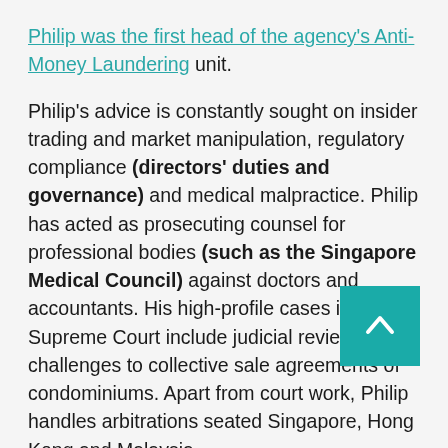Philip was the first head of the agency's Anti-Money Laundering unit.
Philip's advice is constantly sought on insider trading and market manipulation, regulatory compliance (directors' duties and governance) and medical malpractice. Philip has acted as prosecuting counsel for professional bodies (such as the Singapore Medical Council) against doctors and accountants. His high-profile cases in the Supreme Court include judicial reviews and challenges to collective sale agreements of condominiums. Apart from court work, Philip handles arbitrations seated Singapore, Hong Kong and Malaysia.
Philip has been highly recommended as a star